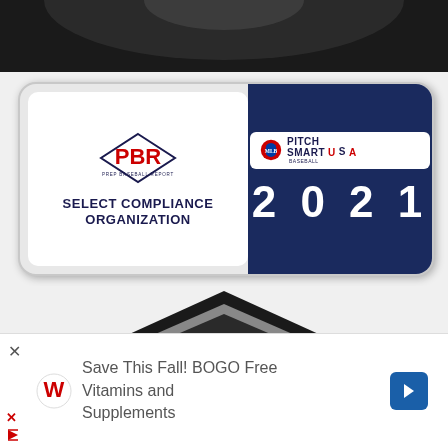[Figure (screenshot): Dark stadium/spotlight image at top of page]
[Figure (logo): PBR Prep Baseball Report - Select Compliance Organization - Pitch Smart USA Baseball 2021 badge]
[Figure (logo): Prep Baseball Report Preseason badge/logo]
[Figure (screenshot): Advertisement: Save This Fall! BOGO Free Vitamins and Supplements - Walgreens ad with navigation arrow]